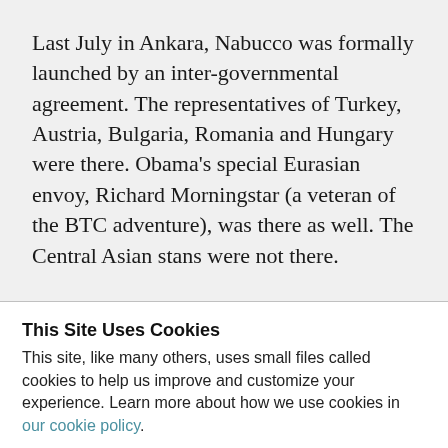Last July in Ankara, Nabucco was formally launched by an inter-governmental agreement. The representatives of Turkey, Austria, Bulgaria, Romania and Hungary were there. Obama's special Eurasian envoy, Richard Morningstar (a veteran of the BTC adventure), was there as well. The Central Asian stans were not there.
This Site Uses Cookies
This site, like many others, uses small files called cookies to help us improve and customize your experience. Learn more about how we use cookies in our cookie policy.
Learn more about cookies   OK